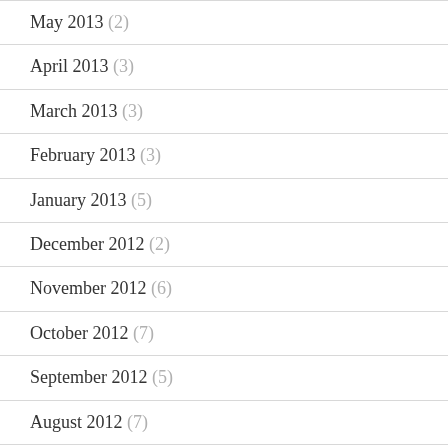May 2013 (2)
April 2013 (3)
March 2013 (3)
February 2013 (3)
January 2013 (5)
December 2012 (2)
November 2012 (6)
October 2012 (7)
September 2012 (5)
August 2012 (7)
July 2012 (5)
June 2012 (7)
May 2012 (6)